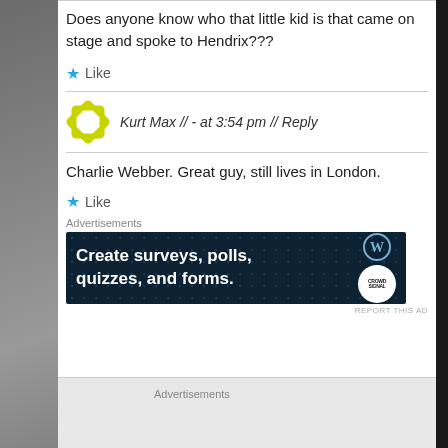Does anyone know who that little kid is that came on stage and spoke to Hendrix???
★ Like
Kurt Max // - at 3:54 pm // Reply
Charlie Webber. Great guy, still lives in London.
★ Like
Advertisements
[Figure (infographic): Dark blue advertisement banner: 'Create surveys, polls, quizzes, and forms.' with WordPress and CrowdSignal logos]
REPORT THIS AD
Advertisements